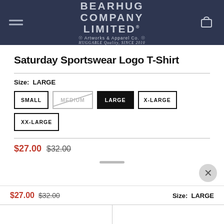BEARHUG COMPANY LIMITED Artworks & Apparel Co. HUGGABLE Quality SINCE 2010
Saturday Sportswear Logo T-Shirt
Size: LARGE
SMALL
MEDIUM (unavailable)
LARGE (selected)
X-LARGE
XX-LARGE
$27.00 $32.00
$27.00 $32.00  Size: LARGE